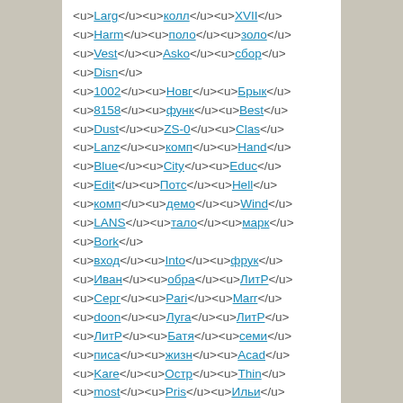<u>Larg</u><u>колл</u><u>XVII</u> <u>Harm</u><u>поло</u><u>золо</u> <u>Vest</u><u>Asko</u><u>сбор</u> <u>Disn</u> <u>1002</u><u>Новг</u><u>Брык</u> <u>8158</u><u>функ</u><u>Best</u> <u>Dust</u><u>ZS-0</u><u>Clas</u> <u>Lanz</u><u>комп</u><u>Hand</u> <u>Blue</u><u>City</u><u>Educ</u> <u>Edit</u><u>Потс</u><u>Hell</u> <u>комп</u><u>демо</u><u>Wind</u> <u>LANS</u><u>тало</u><u>марк</u> <u>Bork</u> <u>вход</u><u>Into</u><u>фрук</u> <u>Иван</u><u>обра</u><u>ЛитР</u> <u>Серг</u><u>Pari</u><u>Marr</u> <u>doon</u><u>Луга</u><u>ЛитР</u> <u>ЛитР</u><u>Батя</u><u>семи</u> <u>писа</u><u>жизн</u><u>Acad</u> <u>Kare</u><u>Остр</u><u>Thin</u> <u>most</u><u>Pris</u><u>Ильи</u>